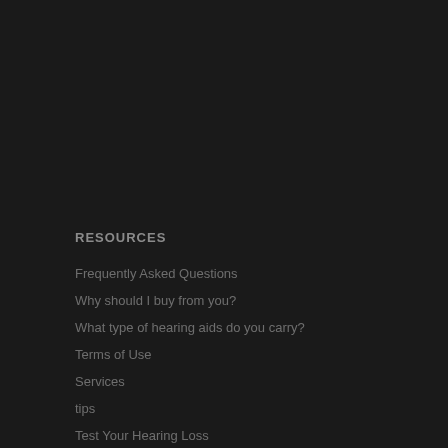RESOURCES
Frequently Asked Questions
Why should I buy from you?
What type of hearing aids do you carry?
Terms of Use
Services
tips
Test Your Hearing Loss
HTML Sitemap
Refund policy